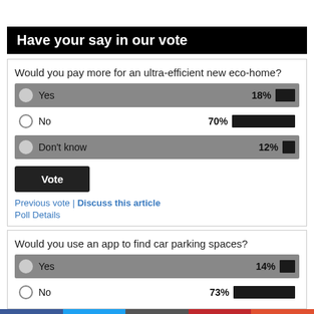Have your say in our vote
Would you pay more for an ultra-efficient new eco-home?
[Figure (bar-chart): Would you pay more for an ultra-efficient new eco-home?]
Vote
Previous vote | Discuss this article
Poll Details
Would you use an app to find car parking spaces?
[Figure (bar-chart): Would you use an app to find car parking spaces?]